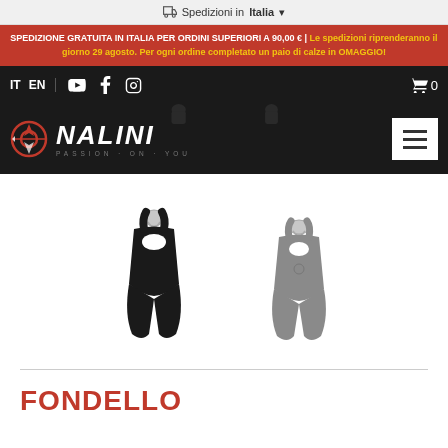Spedizioni in Italia
SPEDIZIONE GRATUITA IN ITALIA PER ORDINI SUPERIORI A 90,00 € | Le spedizioni riprenderanno il giorno 29 agosto. Per ogni ordine completato un paio di calze in OMAGGIO!
IT EN
[Figure (logo): Nalini logo with text PASSION ON YOU on black background]
[Figure (photo): Two cycling bib shorts products - one black and one gray - displayed on mannequin forms]
FONDELLO